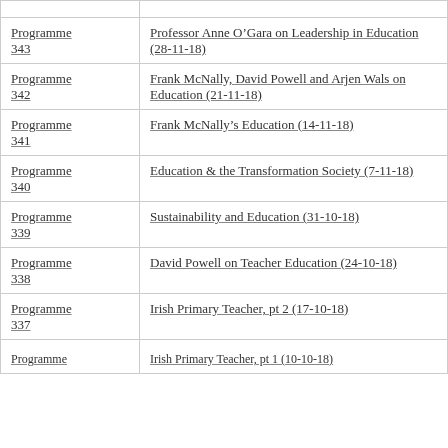| Programme | Title |
| --- | --- |
| Programme 343 | Professor Anne O’Gara on Leadership in Education (28-11-18) |
| Programme 342 | Frank McNally, David Powell and Arjen Wals on Education (21-11-18) |
| Programme 341 | Frank McNally’s Education (14-11-18) |
| Programme 340 | Education & the Transformation Society (7-11-18) |
| Programme 339 | Sustainability and Education (31-10-18) |
| Programme 338 | David Powell on Teacher Education (24-10-18) |
| Programme 337 | Irish Primary Teacher, pt 2 (17-10-18) |
| Programme ... | Irish Primary Teacher, pt 1 (10-10-18) |